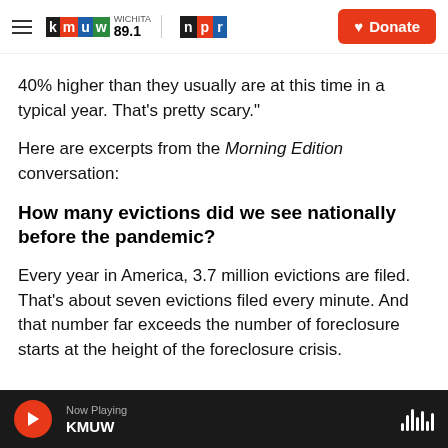KMUW Wichita 89.1 | NPR | Donate
40% higher than they usually are at this time in a typical year. That's pretty scary."
Here are excerpts from the Morning Edition conversation:
How many evictions did we see nationally before the pandemic?
Every year in America, 3.7 million evictions are filed. That's about seven evictions filed every minute. And that number far exceeds the number of foreclosure starts at the height of the foreclosure crisis.
Now Playing KMUW